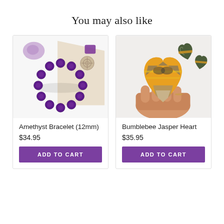You may also like
[Figure (photo): Amethyst Bracelet (12mm) - purple beaded bracelet on white background with brand card]
Amethyst Bracelet (12mm)
$34.95
ADD TO CART
[Figure (photo): Bumblebee Jasper Heart - hand holding a heart-shaped bumblebee jasper stone with two more in background]
Bumblebee Jasper Heart
$35.95
ADD TO CART